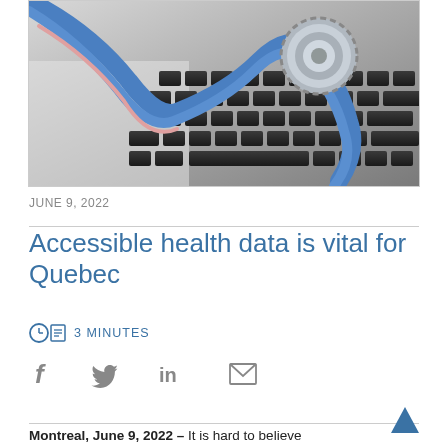[Figure (photo): A stethoscope resting on a laptop keyboard, closeup view with blue tubing and silver chest piece.]
JUNE 9, 2022
Accessible health data is vital for Quebec
3 MINUTES
[Figure (infographic): Social media share icons: Facebook (f), Twitter (bird), LinkedIn (in), Email (envelope)]
Montreal, June 9, 2022 – It is hard to believe